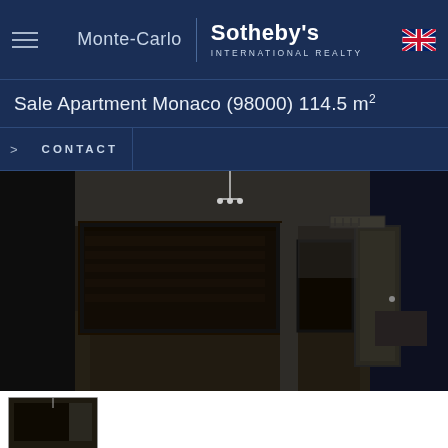Monte-Carlo | Sotheby's INTERNATIONAL REALTY
Sale Apartment Monaco (98000) 114.5 m²
CONTACT
[Figure (photo): Interior photo of an empty apartment room with large panoramic windows, white walls, white ceiling with pendant light fixture, reflective tiled floor, and a door on the right side.]
[Figure (photo): Thumbnail image of apartment interior]